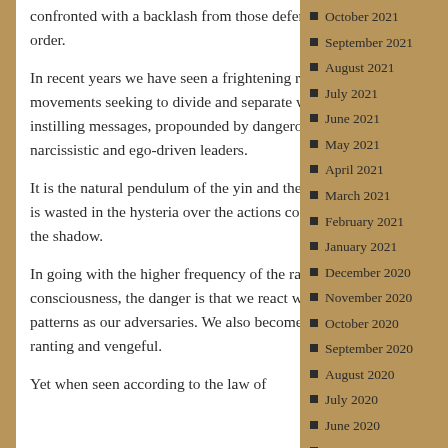confronted with a backlash from those defending the old order.
In recent years we have seen a frightening rise of movements seeking to divide and separate with fear-instilling messages, propounded by dangerous narcissistic and ego-driven leaders.
It is the natural pendulum of the yin and the yang. Energy is wasted in the hysteria over the actions coming from the shadow.
In going with the higher frequency of the raised consciousness, the danger is that we react with the same patterns as our adversaries. We also become hateful, ranting and vengeful.
Yet when seen according to the law of
October 2021
September 2021
August 2021
July 2021
June 2021
May 2021
April 2021
March 2021
February 2021
January 2021
December 2020
November 2020
October 2020
September 2020
August 2020
July 2020
June 2020
May 2020
April 2020